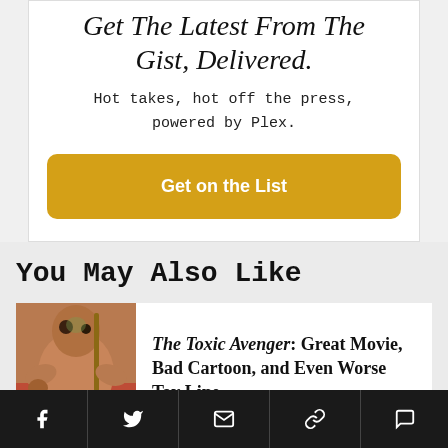Get The Latest From The Gist, Delivered.
Hot takes, hot off the press, powered by Plex.
Get on the List
You May Also Like
[Figure (illustration): Illustrated cover image of The Toxic Avenger character, a muscular mutant figure holding a mop, with American flag imagery in the background]
The Toxic Avenger: Great Movie, Bad Cartoon, and Even Worse Toy Line
Social sharing icons: Facebook, Twitter, Email, Link, Comment